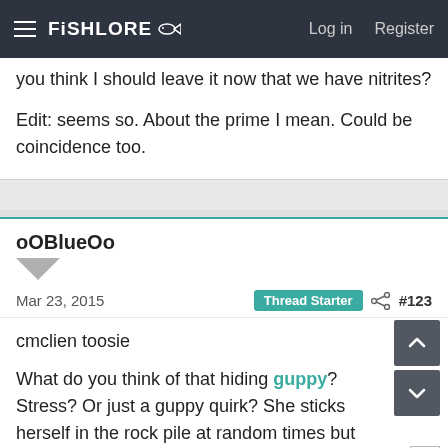FishLore | Log in | Register
you think I should leave it now that we have nitrites?
Edit: seems so. About the prime I mean. Could be coincidence too.
oOBlueOo
Mar 23, 2015  Thread Starter  #123
cmclien toosie
What do you think of that hiding guppy? Stress? Or just a guppy quirk? She sticks herself in the rock pile at random times but comes out and schools with the rest of the